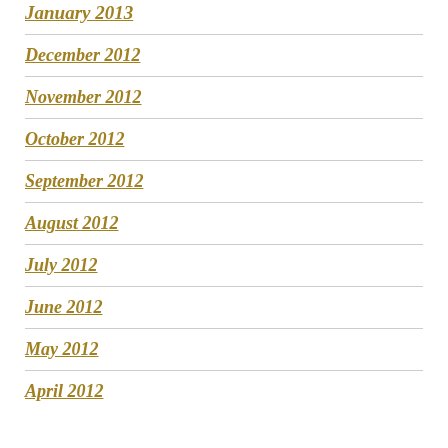January 2013
December 2012
November 2012
October 2012
September 2012
August 2012
July 2012
June 2012
May 2012
April 2012